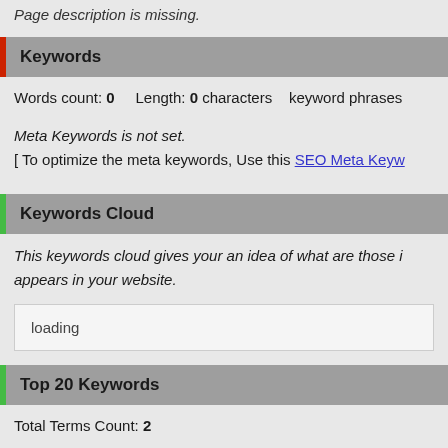Page description is missing.
Keywords
Words count: 0    Length: 0 characters    keyword phrases
Meta Keywords is not set.
[ To optimize the meta keywords, Use this SEO Meta Keyw...
Keywords Cloud
This keywords cloud gives your an idea of what are those i... appears in your website.
loading
Top 20 Keywords
Total Terms Count: 2